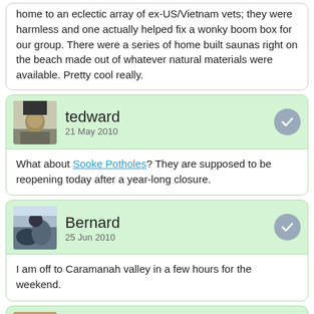home to an eclectic array of ex-US/Vietnam vets; they were harmless and one actually helped fix a wonky boom box for our group. There were a series of home built saunas right on the beach made out of whatever natural materials were available. Pretty cool really.
tedward
21 May 2010
What about Sooke Potholes? They are supposed to be reopening today after a year-long closure.
Bernard
25 Jun 2010
I am off to Caramanah valley in a few hours for the weekend.
Bob Fugger
25 Jun 2010
There's Gordon Bay Provincial Campground at the south end of Cowichan Lake, which is a 90 minute drive and an altogether different vibe than oceanside camping.

Of course, if you really wanted to keep close to home, I would suggest